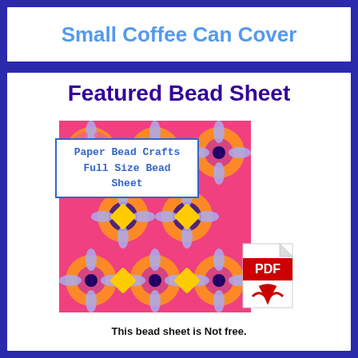Small Coffee Can Cover
Featured Bead Sheet
[Figure (illustration): Colorful kaleidoscopic bead sheet pattern in pink, yellow, blue, and purple with PDF badge overlay and 'Paper Bead Crafts Full Size Bead Sheet' label]
This bead sheet is Not free.